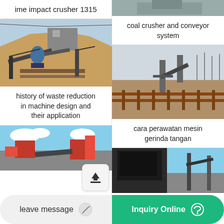ime impact crusher 1315
[Figure (photo): Outdoor mining/quarry site with crusher machinery, conveyor belts, and large mound of crushed rock material]
history of waste reduction in machine design and their application
[Figure (photo): Partial view of another mining site with machinery, bottom of page]
[Figure (photo): Top portion of a coal conveyor/crusher installation at an industrial site]
coal crusher and conveyor system
[Figure (photo): Wide shot of an outdoor industrial conveyor system on a flat landscape with trees in background]
cara perawatan mesin gerinda tangan
[Figure (photo): Industrial building/warehouse with machines, partial view]
leave message
Inquiry Online